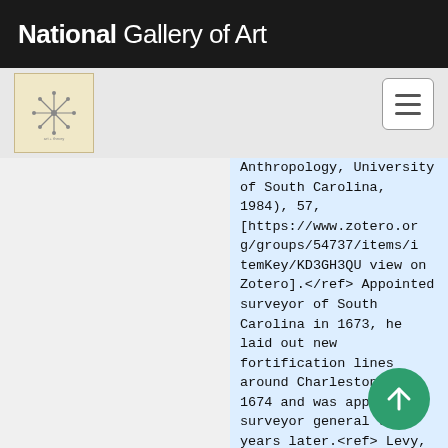National Gallery of Art
[Figure (logo): NGA compass/snowflake logo thumbnail on grey sub-header bar]
Anthropology, University of South Carolina, 1984), 57, [https://www.zotero.org/groups/54737/items/itemKey/KD3GH3QU view on Zotero].</ref> Appointed surveyor of South Carolina in 1673, he laid out new fortification lines around Charleston in 1674 and was appointed surveyor general ten years later.<ref> Levy, “Savannah’s Street: The Man Behind